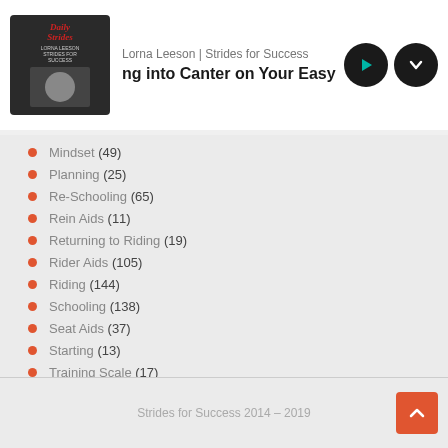Lorna Leeson | Strides for Success — ng into Canter on Your Easygoing or
Mindset (49)
Planning (25)
Re-Schooling (65)
Rein Aids (11)
Returning to Riding (19)
Rider Aids (105)
Riding (144)
Schooling (138)
Seat Aids (37)
Starting (13)
Training Scale (17)
Trotting (16)
Wellbeing (126)
Young Horse (27)
Strides for Success 2014 – 2019